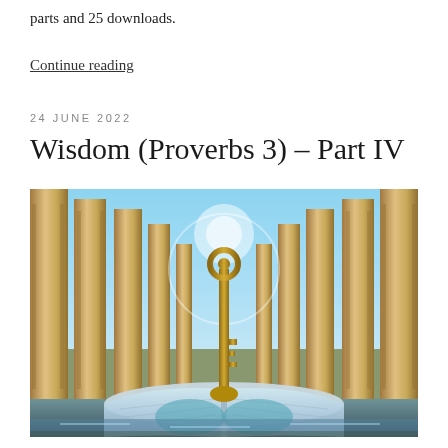parts and 25 downloads.
Continue reading
24 JUNE 2022
Wisdom (Proverbs 3) – Part IV
[Figure (photo): A fantasy/surreal image showing an open book in the foreground with water reflections, a large ornate key standing upright from the book, and ancient Egyptian-style stone columns lining a hallway in the background under a blue sky.]